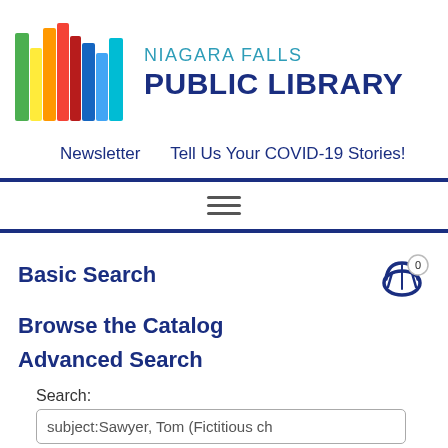[Figure (logo): Colorful vertical book spines logo with rainbow colors (green, yellow, orange, red, dark red, blue, light blue, teal, purple) next to text 'NIAGARA FALLS PUBLIC LIBRARY']
Newsletter   Tell Us Your COVID-19 Stories!
≡
Basic Search
Browse the Catalog
Advanced Search
Search:
subject:Sawyer, Tom (Fictitious ch